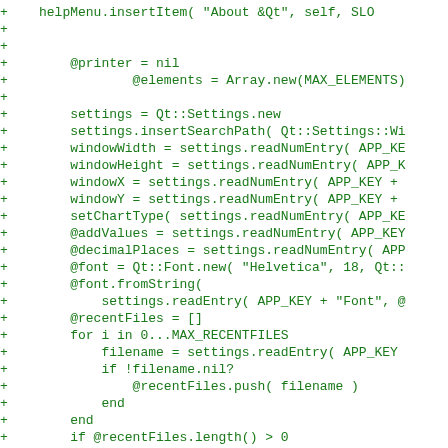[Figure (screenshot): Code diff screenshot showing Ruby source code lines prefixed with '+' in green monospace font on white background. Lines show initialization code including printer, elements array, Qt settings, window properties, chart type, font, recent files loop, and a comment about connecting slots.]